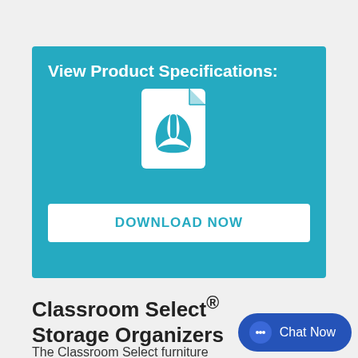[Figure (other): Blue banner with PDF file icon and Download Now button for product specifications]
Classroom Select® Storage Organizers
The Classroom Select furniture School Specialty is your leading resource for
[Figure (other): Chat Now button in bottom right corner]